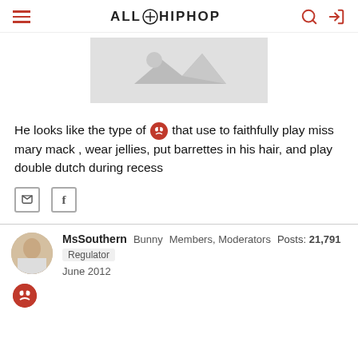ALL HIP HOP
[Figure (photo): Placeholder image with grey background and mountain/image icon]
He looks like the type of 😡 that use to faithfully play miss mary mack , wear jellies, put barrettes in his hair, and play double dutch during recess
MsSouthern  Bunny  Members, Moderators  Posts: 21,791  Regulator  June 2012